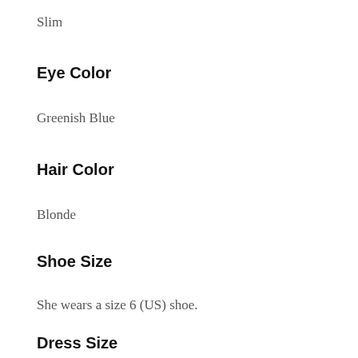Slim
Eye Color
Greenish Blue
Hair Color
Blonde
Shoe Size
She wears a size 6 (US) shoe.
Dress Size